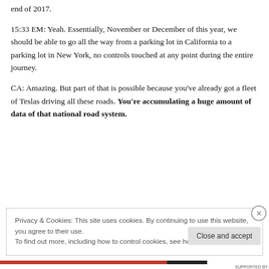end of 2017.
15:33 EM: Yeah. Essentially, November or December of this year, we should be able to go all the way from a parking lot in California to a parking lot in New York, no controls touched at any point during the entire journey.
CA: Amazing. But part of that is possible because you've already got a fleet of Teslas driving all these roads. You're accumulating a huge amount of data of that national road system.
Privacy & Cookies: This site uses cookies. By continuing to use this website, you agree to their use.
To find out more, including how to control cookies, see here: Cookie Policy